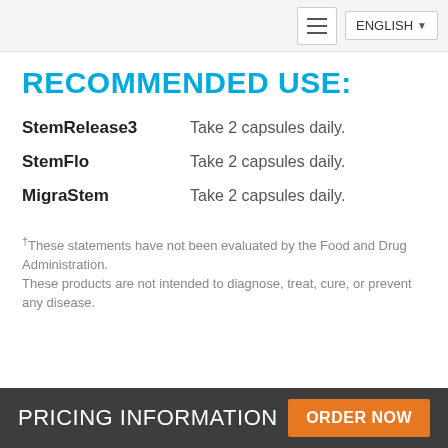ENGLISH
RECOMMENDED USE:
StemRelease3   Take 2 capsules daily.
StemFlo   Take 2 capsules daily.
MigraStem   Take 2 capsules daily.
†These statements have not been evaluated by the Food and Drug Administration.
These products are not intended to diagnose, treat, cure, or prevent any disease.
PRICING INFORMATION   ORDER NOW